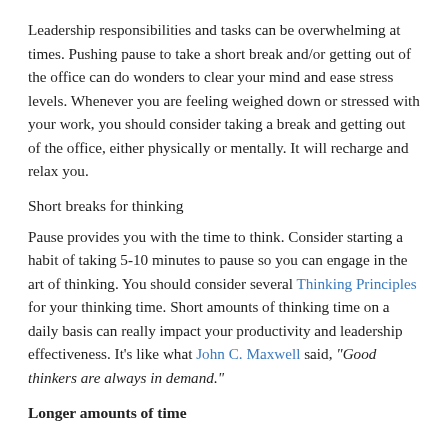Leadership responsibilities and tasks can be overwhelming at times. Pushing pause to take a short break and/or getting out of the office can do wonders to clear your mind and ease stress levels. Whenever you are feeling weighed down or stressed with your work, you should consider taking a break and getting out of the office, either physically or mentally. It will recharge and relax you.
Short breaks for thinking
Pause provides you with the time to think. Consider starting a habit of taking 5-10 minutes to pause so you can engage in the art of thinking. You should consider several Thinking Principles for your thinking time. Short amounts of thinking time on a daily basis can really impact your productivity and leadership effectiveness. It’s like what John C. Maxwell said, “Good thinkers are always in demand.”
Longer amounts of time